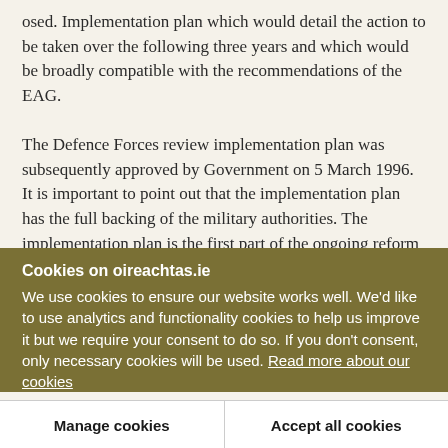…osed. Implementation plan which would detail the action to be taken over the following three years and which would be broadly compatible with the recommendations of the EAG.

The Defence Forces review implementation plan was subsequently approved by Government on 5 March 1996. It is important to point out that the implementation plan has the full backing of the military authorities. The implementation plan is the first part of the ongoing reform of the Defence
Cookies on oireachtas.ie
We use cookies to ensure our website works well. We'd like to use analytics and functionality cookies to help us improve it but we require your consent to do so. If you don't consent, only necessary cookies will be used. Read more about our cookies
Manage cookies
Accept all cookies